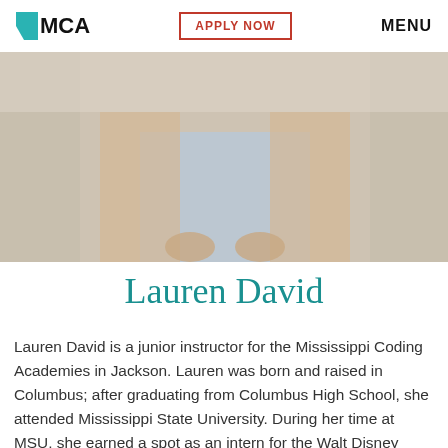MCA   APPLY NOW   MENU
[Figure (photo): Cropped photo showing a person from shoulders down, wearing a light blue outfit with hands folded, in an indoor setting]
Lauren David
Lauren David is a junior instructor for the Mississippi Coding Academies in Jackson. Lauren was born and raised in Columbus; after graduating from Columbus High School, she attended Mississippi State University. During her time at MSU, she earned a spot as an intern for the Walt Disney Company at the Walt Disney World Theme Park and Resort.